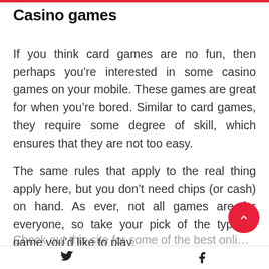Casino games
If you think card games are no fun, then perhaps you’re interested in some casino games on your mobile. These games are great for when you’re bored. Similar to card games, they require some degree of skill, which ensures that they are not too easy.
The same rules that apply to the real thing apply here, but you don’t need chips (or cash) on hand. As ever, not all games are for everyone, so take your pick of the type of game you’d like to play.
Twitter  Facebook